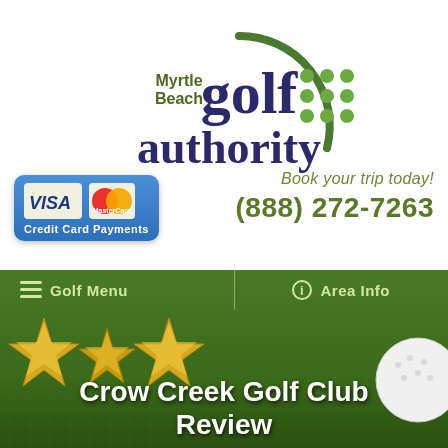[Figure (logo): Myrtle Beach Golf Authority logo with green arc and dot pattern]
[Figure (logo): Visa and MasterCard Credit Card Payments logo badge]
Book your trip today!
(888) 272-7263
[Figure (screenshot): Dark green grass background with navigation bar showing Golf Menu and Area Info, three gold stars, and title Crow Creek Golf Club Review]
Golf Menu
Area Info
Crow Creek Golf Club Review